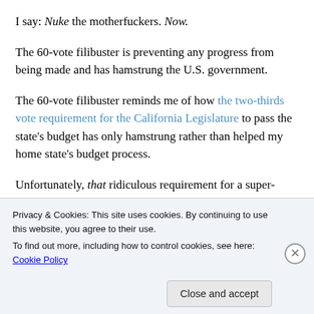I say: Nuke the motherfuckers. Now.
The 60-vote filibuster is preventing any progress from being made and has hamstrung the U.S. government.
The 60-vote filibuster reminds me of how the two-thirds vote requirement for the California Legislature to pass the state’s budget has only hamstrung rather than helped my home state’s budget process.
Unfortunately, that ridiculous requirement for a super-
Privacy & Cookies: This site uses cookies. By continuing to use this website, you agree to their use.
To find out more, including how to control cookies, see here: Cookie Policy
Close and accept